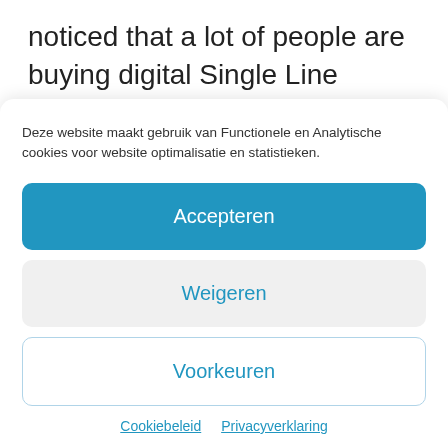noticed that a lot of people are buying digital Single Line Reflex camera's just because they have a lot of mega pixels. So I bought myself a Sony Alfa DSLR 100 (FKA the Konica Minolta)  and enlisted a photography course to make sure my money is well spend. Photography appeals to my passion for technology, but also teaches
Deze website maakt gebruik van Functionele en Analytische cookies voor website optimalisatie en statistieken.
Accepteren
Weigeren
Voorkeuren
Cookiebeleid  Privacyverklaring